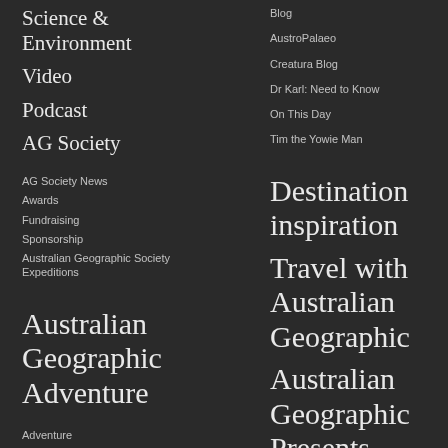Science & Environment
Video
Podcast
AG Society
AG Society News
Awards
Fundraising
Sponsorship
Australian Geographic Society Expeditions
Australian Geographic Adventure
Adventure
Destinations
Blog
AustroPalaeo
Creatura Blog
Dr Karl: Need to Know
On This Day
Tim the Yowie Man
Destination inspiration
Travel with Australian Geographic
Australian Geographic Presents
Adventurers, Explorers and Trail Blazers
Environmentalists, Conservationists and Scientists